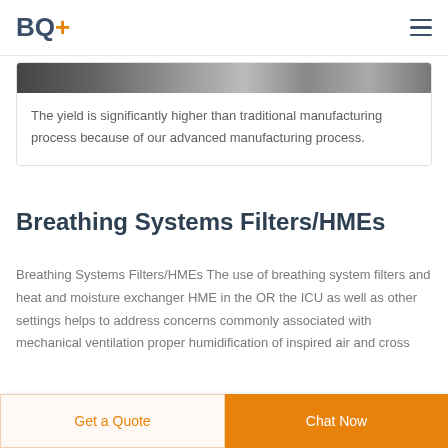BQ+
[Figure (photo): Partial view of manufacturing or medical equipment, dark/greyscale photo cropped at the top.]
The yield is significantly higher than traditional manufacturing process because of our advanced manufacturing process.
Breathing Systems Filters/HMEs
Breathing Systems Filters/HMEs The use of breathing system filters and heat and moisture exchanger HME in the OR the ICU as well as other settings helps to address concerns commonly associated with mechanical ventilation proper humidification of inspired air and cross
Get a Quote   Chat Now